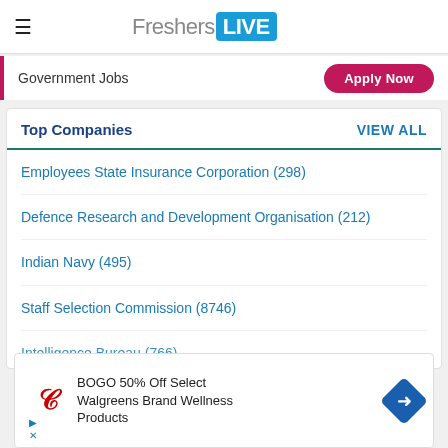FreshersLIVE
Government Jobs  Apply Now
Top Companies  VIEW ALL
Employees State Insurance Corporation (298)
Defence Research and Development Organisation (212)
Indian Navy (495)
Staff Selection Commission (8746)
Intelligence Bureau (766)
[Figure (screenshot): Walgreens advertisement: BOGO 50% Off Select Walgreens Brand Wellness Products with Walgreens logo and arrow navigation icon]